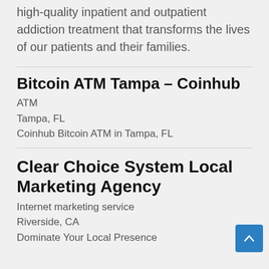high-quality inpatient and outpatient addiction treatment that transforms the lives of our patients and their families.
Bitcoin ATM Tampa – Coinhub
ATM
Tampa, FL
Coinhub Bitcoin ATM in Tampa, FL
Clear Choice System Local Marketing Agency
Internet marketing service
Riverside, CA
Dominate Your Local Presence